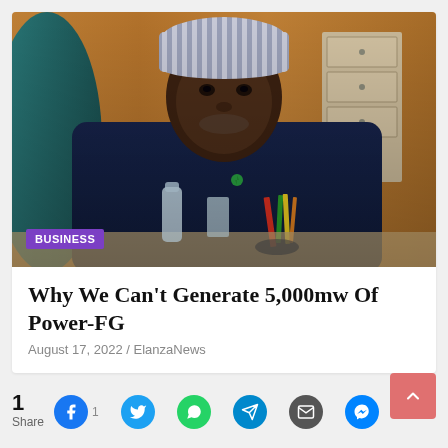[Figure (photo): A Nigerian government official in dark blue traditional attire and a striped cap, seated at a desk in an office with wooden walls and a filing cabinet behind him. A purple 'BUSINESS' badge is overlaid at the bottom left of the image.]
Why We Can't Generate 5,000mw Of Power-FG
August 17, 2022 / ElanzaNews
1
Share
1